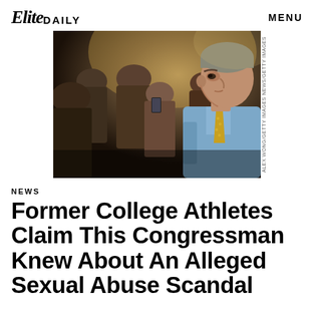Elite DAILY   MENU
[Figure (photo): A man in a light blue shirt and gold tie, seen in profile, surrounded by people in a crowded room. Photo credit: ALEX WONG/GETTY IMAGES NEWS/GETTY IMAGES]
NEWS
Former College Athletes Claim This Congressman Knew About An Alleged Sexual Abuse Scandal